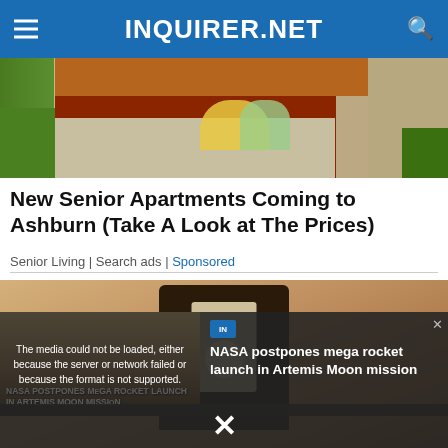INQUIRER.NET
[Figure (photo): Photo of a house exterior with garden, pavers, flowers, and brick wall]
New Senior Apartments Coming to Ashburn (Take A Look at The Prices)
Senior Living | Search ads | Sponsored
[Figure (photo): Close-up photo of an outdoor wall-mounted light fixture on a textured wall]
The media could not be loaded, either because the server or network failed or because the format is not supported.
NASA POSTPONES MEGA ROCKET LAUNCH IN ARTEMIS MOON MISSION
NASA postpones mega rocket launch in Artemis Moon mission